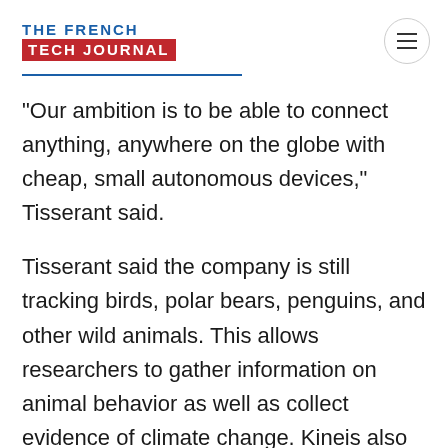THE FRENCH TECH JOURNAL
"Our ambition is to be able to connect anything, anywhere on the globe with cheap, small autonomous devices," Tisserant said.
Tisserant said the company is still tracking birds, polar bears, penguins, and other wild animals. This allows researchers to gather information on animal behavior as well as collect evidence of climate change. Kineis also tracks fishing boats to help institutions and governments to monitor the quantity of fish caught to ensure the resources in fish will be still enough in the coming years and